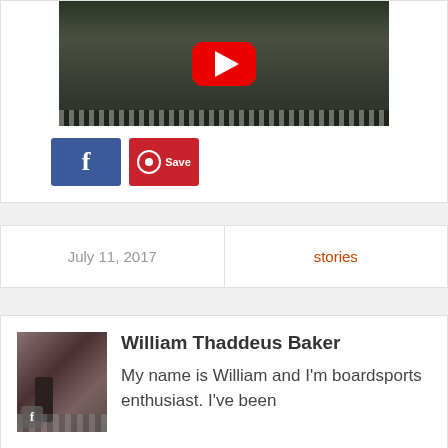[Figure (screenshot): YouTube video thumbnail showing police officers near a police car with YouTube play button overlay]
[Figure (screenshot): Facebook share button (blue square with white f)]
[Figure (screenshot): Pinterest Save button (red square with P icon and 'Save' text)]
July 11, 2017
stories
[Figure (photo): Author photo of William Thaddeus Baker on a skateboard on a street]
William Thaddeus Baker
My name is William and I'm boardsports enthusiast. I've been